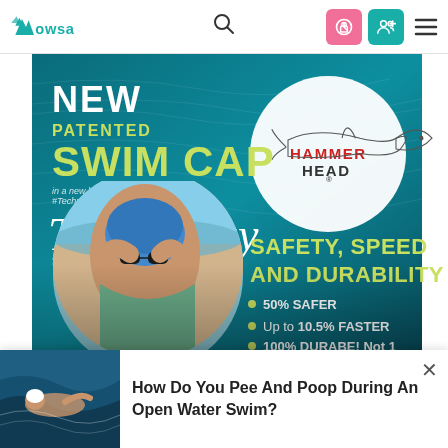WOWSA
[Figure (photo): Advertisement for Hammer Head swim cap. Large ad with dark teal water background. Text reads: NEW PATENTED SWIM CAP Technology. HAMMER HEAD logo with shark graphic top right. Woman wearing blue swim cap and goggles at beach (circular photo inset bottom left). Right side text: SAFETY, SPEED AND DURABILITY with bullet points: 50% SAFER, Up to 10.5% FASTER, 100% DURABE! Not 1 Hammer Head has ever]
[Figure (photo): Open water swimmer swimming in dark choppy water, used as background thumbnail in popup notification]
How Do You Pee And Poop During An Open Water Swim?